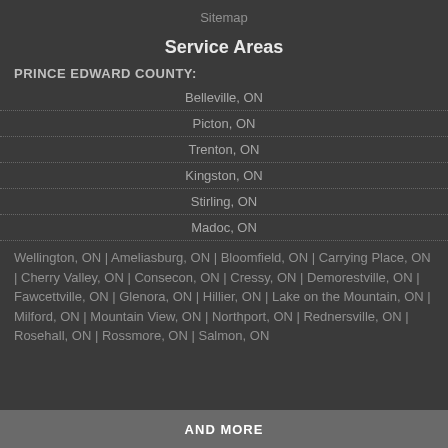Sitemap
Service Areas
PRINCE EDWARD COUNTY:
Belleville, ON
Picton, ON
Trenton, ON
Kingston, ON
Stirling, ON
Madoc, ON
Wellington, ON | Ameliasburg, ON | Bloomfield, ON | Carrying Place, ON | Cherry Valley, ON | Consecon, ON | Cressy, ON | Demorestville, ON | Fawcettville, ON | Glenora, ON | Hillier, ON | Lake on the Mountain, ON | Milford, ON | Mountain View, ON | Northport, ON | Rednersville, ON | Rosehall, ON | Rossmore, ON | Salmon, ON
AND MORE